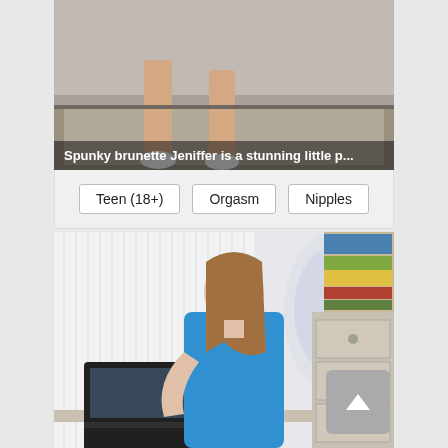[Figure (photo): Cropped photo showing legs of a brunette woman standing near a grey sofa on a textured rug, wearing white socks]
Spunky brunette Jeniffer is a stunning little p...
Teen (18+)
Orgasm
Nipples
[Figure (photo): Young woman with long brown hair wearing a blue dress, sitting at a desk with a laptop, in a room with decorative wallpaper, a bookshelf and a filing cabinet]